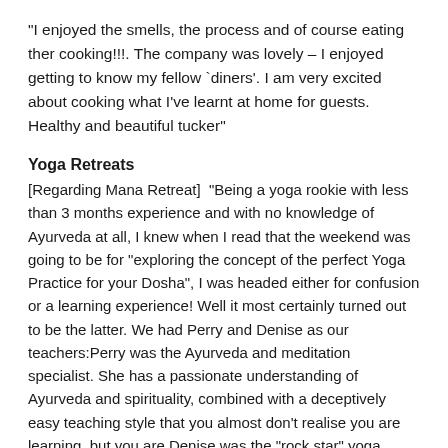“I enjoyed the smells, the process and of course eating ther cooking!!!. The company was lovely – I enjoyed getting to know my fellow ‘diners’. I am very excited about cooking what I’ve learnt at home for guests. Healthy and beautiful tucker”
Yoga Retreats
[Regarding Mana Retreat]  “Being a yoga rookie with less than 3 months experience and with no knowledge of Ayurveda at all, I knew when I read that the weekend was going to be for “exploring the concept of the perfect Yoga Practice for your Dosha”, I was headed either for confusion or a learning experience! Well it most certainly turned out to be the latter. We had Perry and Denise as our teachers:Perry was the Ayurveda and meditation specialist. She has a passionate understanding of Ayurveda and spirituality, combined with a deceptively easy teaching style that you almost don’t realise you are learning, but you are.Denise was the “rock star” yoga teacher! She imparts yoga teachings in an inspiring and